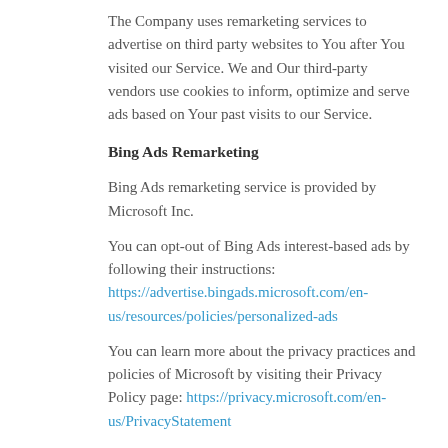The Company uses remarketing services to advertise on third party websites to You after You visited our Service. We and Our third-party vendors use cookies to inform, optimize and serve ads based on Your past visits to our Service.
Bing Ads Remarketing
Bing Ads remarketing service is provided by Microsoft Inc.
You can opt-out of Bing Ads interest-based ads by following their instructions: https://advertise.bingads.microsoft.com/en-us/resources/policies/personalized-ads
You can learn more about the privacy practices and policies of Microsoft by visiting their Privacy Policy page: https://privacy.microsoft.com/en-us/PrivacyStatement